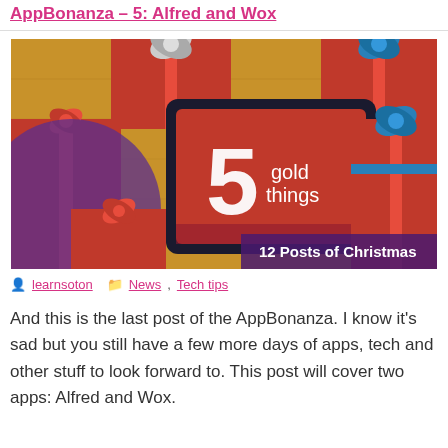AppBonanza – 5: Alfred and Wox
[Figure (photo): Christmas gifts with bows on a wooden surface, with a tablet showing '5 gold things' and text '12 Posts of Christmas']
learnsoton   News, Tech tips
And this is the last post of the AppBonanza. I know it's sad but you still have a few more days of apps, tech and other stuff to look forward to. This post will cover two apps: Alfred and Wox.